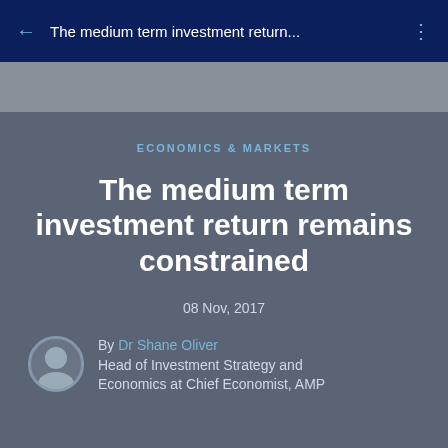The medium term investment return...
ECONOMICS & MARKETS
The medium term investment return remains constrained
08 Nov, 2017
By Dr Shane Oliver
Head of Investment Strategy and Economics at Chief Economist, AMP